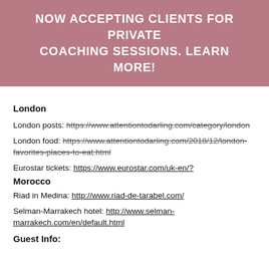NOW ACCEPTING CLIENTS FOR PRIVATE COACHING SESSIONS. LEARN MORE!
London
London posts: https://www.attentiontodarling.com/category/london
London food: https://www.attentiontodarling.com/2018/12/london-favorites-places-to-eat.html
Eurostar tickets: https://www.eurostar.com/uk-en/?
Morocco
Riad in Medina: http://www.riad-de-tarabel.com/
Selman-Marrakech hotel: http://www.selman-marrakech.com/en/default.html
Guest Info: